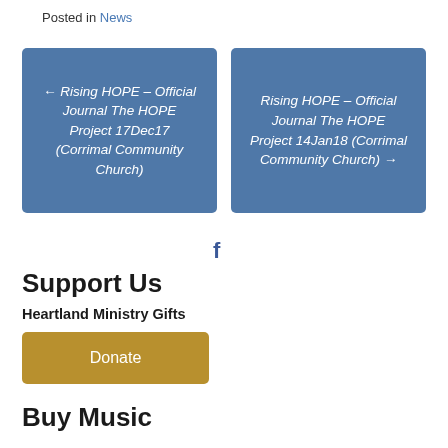Posted in News
← Rising HOPE – Official Journal The HOPE Project 17Dec17 (Corrimal Community Church)
Rising HOPE – Official Journal The HOPE Project 14Jan18 (Corrimal Community Church) →
[Figure (other): Facebook icon/logo]
Support Us
Heartland Ministry Gifts
Donate
Buy Music